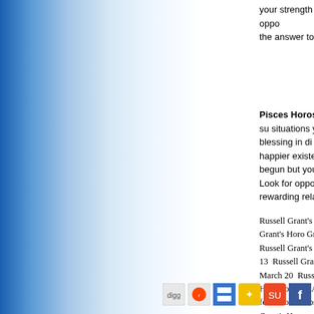your strength will offer you a job or creative opportunity that could be the answer to a prayer.
Pisces Horoscope for April 28 2019: You've su situations you've ever faced was a blessing in di and have moved towards a happier existence. G new phase of life has begun but you're not sure lean into them. Look for opportunities to make fr form a rewarding relationship.
Russell Grant's Horoscope for April 25  Russell Grant's Horoscope Grant's Horoscope for February 02  Russell Grant's Horoscope Grant's Horoscope for May 13  Russell Grant's Horoscope Horoscope for March 20  Russell Grant's Horoscope for Ja Horoscope for April 16  Russell Grant's Horoscope for Octo Horoscope for September 12  Russell Grant's Horoscope Grant's Horoscope for July 21  Russell Grant's Horoscope
[Figure (infographic): Social sharing icons: Digg, Reddit, Delicious, Google, StumbleUpon, Facebook]